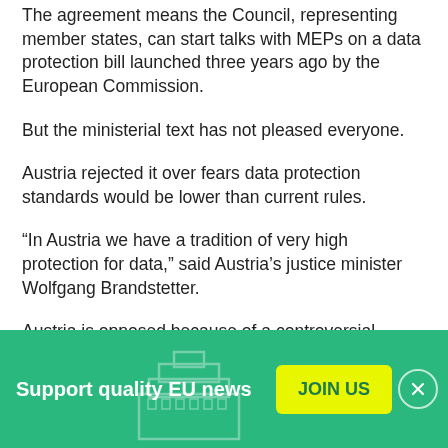The agreement means the Council, representing member states, can start talks with MEPs on a data protection bill launched three years ago by the European Commission.
But the ministerial text has not pleased everyone.
Austria rejected it over fears data protection standards would be lower than current rules.
“In Austria we have a tradition of very high protection for data,” said Austria’s justice minister Wolfgang Brandstetter.
Austria is opposed because of a controversial article 6.4
[Figure (other): Green banner advertisement: 'Support quality EU news' with a yellow 'JOIN US' button and a close (X) button on the right. Background shows faint EU Parliament building icon.]